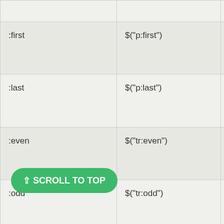| Selector | Example | Description |
| --- | --- | --- |
| :first | $("p:first") | This the elem... |
| :last | $("p:last") | This he elem... |
| :even | $("tr:even") | This all elem... |
| :odd | $("tr:odd") | This all elem... |
|  | $("p:first-child") | It wi... |